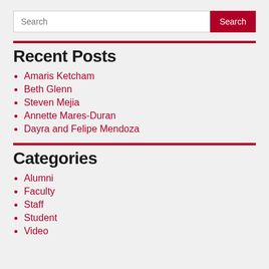Search
Recent Posts
Amaris Ketcham
Beth Glenn
Steven Mejia
Annette Mares-Duran
Dayra and Felipe Mendoza
Categories
Alumni
Faculty
Staff
Student
Video